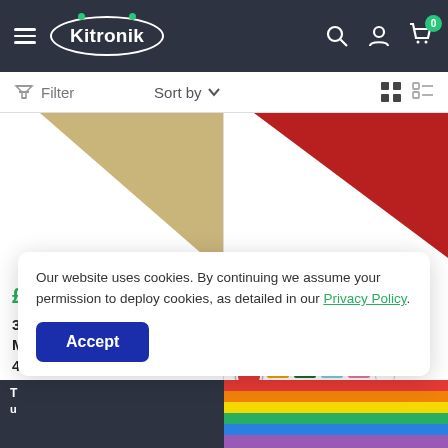Kitronik
Filter   Sort by
[Figure (photo): Product image showing a beige/gold triangular sheet (3mm Laser Compatible Medite MDF)]
£1.65
3mm Laser Compatible Medite MDF, 600mm x 400mm sheet
[Figure (photo): Product image showing a red triangular glitter acrylic sheet]
From £10  £14.95
Acrylic Sheet (Glitter) 3mm x 600mm x 400mm, sheet
Our website uses cookies. By continuing we assume your permission to deploy cookies, as detailed in our Privacy Policy.
Accept